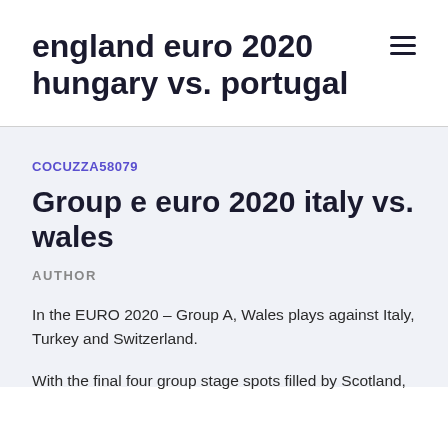england euro 2020 hungary vs. portugal
COCUZZA58079
Group e euro 2020 italy vs. wales
AUTHOR
In the EURO 2020 – Group A, Wales plays against Italy, Turkey and Switzerland.
With the final four group stage spots filled by Scotland,